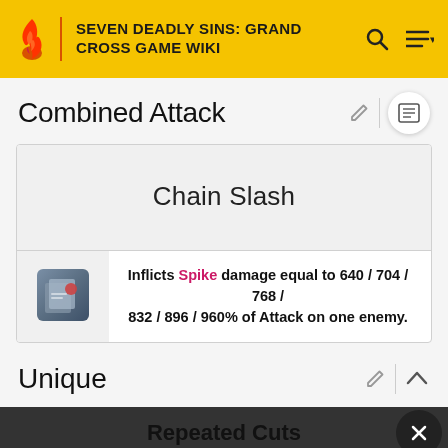SEVEN DEADLY SINS: GRAND CROSS GAME WIKI
Combined Attack
| Chain Slash |
| [icon] | Inflicts Spike damage equal to 640 / 704 / 768 / 832 / 896 / 960% of Attack on one enemy. |
Unique
Repeated Cuts